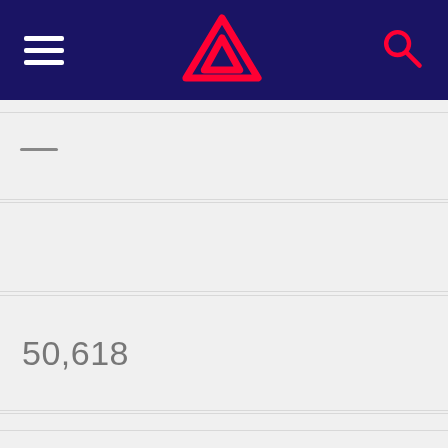[Figure (screenshot): Dark navy navigation bar with hamburger menu icon on left, red triangle logo in center, and red search icon on right]
—
50,618